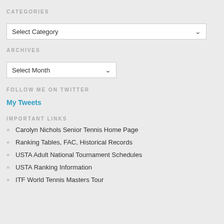CATEGORIES
[Figure (screenshot): Select Category dropdown box]
ARCHIVES
[Figure (screenshot): Select Month dropdown box]
FOLLOW ME ON TWITTER
My Tweets
IMPORTANT LINKS
Carolyn Nichols Senior Tennis Home Page
Ranking Tables, FAC, Historical Records
USTA Adult National Tournament Schedules
USTA Ranking Information
ITF World Tennis Masters Tour